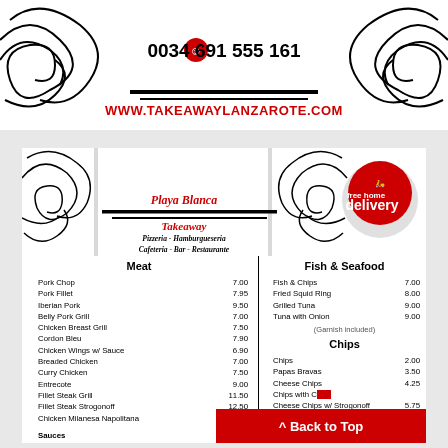[Figure (logo): Top banner with decorative swirls, phone number 0034 691 555 161 and website www.takeawaylanzarote.com]
[Figure (logo): Playa Blanca Takeaway menu card header with decorative swirls, delivery badge, and text: Pizzeria - Hamburgueseria, Cafeteria - Bar - Restaurante]
Meat
| Item | Price |
| --- | --- |
| Pork Chop | 7.00 |
| Pork Fillet | 7.95 |
| Iberian Pork | 9.50 |
| Belly Pork Grill | 7.00 |
| Chicken Breast Grill | 7.50 |
| Cordon Bleu | 7.90 |
| Chicken Wings w/ Sauce | 6.90 |
| Breaded Chicken | 7.00 |
| Curry Chicken | 7.50 |
| Entrecote | 9.00 |
| Fillet Steak Grill | 11.50 |
| Fillet Steak Strogonoff | 12.50 |
| Chicken Milanesa Napolitana | 7.50 |
Sauces  2.50
Fish & Seafood
| Item | Price |
| --- | --- |
| Fish & Chips | 7.00 |
| Fried Squid Ring | 8.00 |
| Grilled Tuna | 9.00 |
| Tuna with Onion | 9.00 |
(Garnish included)
Chips
| Item | Price |
| --- | --- |
| Chips | 2.00 |
| Papas Bravas | 3.50 |
| Cheese Chips | 4.25 |
| Chips with C... |  |
| Cheese Chips w/ Strogonoff | 5.75 |
^ Back to Top